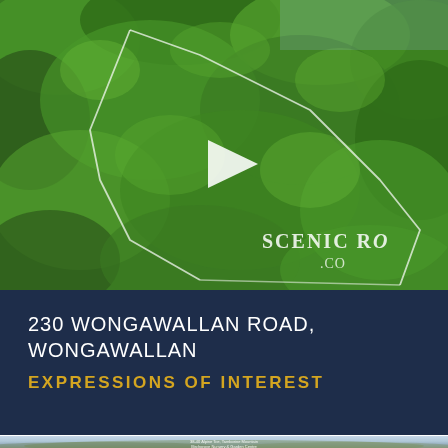[Figure (photo): Aerial drone photograph of densely forested green hillside with white property boundary lines overlaid, play button icon in center, SCENIC R... watermark in bottom right]
230 WONGAWALLAN ROAD, WONGAWALLAN
EXPRESSIONS OF INTEREST
[Figure (photo): Panoramic landscape photo showing distant mountain ranges and valley with text overlay: 38-40 Alpine Tce, Tamborine Mountain, Birchgrove Nursery & Garden Centre]